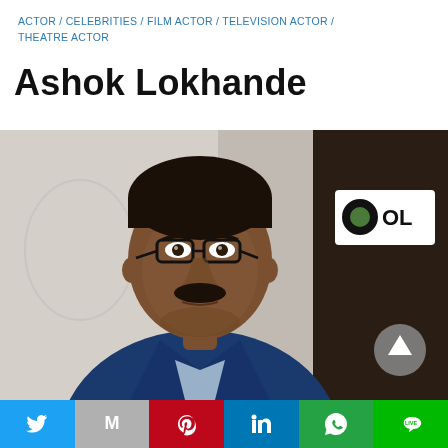ACTOR / CELEBRITIES / FILM ACTOR / TELEVISION ACTOR / THEATRE ACTOR
Ashok Lokhande
[Figure (photo): Portrait photo of Ashok Lokhande, a middle-aged Indian man wearing black-rimmed glasses, a mustache, a blue blazer over a light shirt, standing in front of a backdrop with partial 'OL' logo visible]
Social share bar: Twitter, Gmail, Pinterest, LinkedIn, WhatsApp, Line